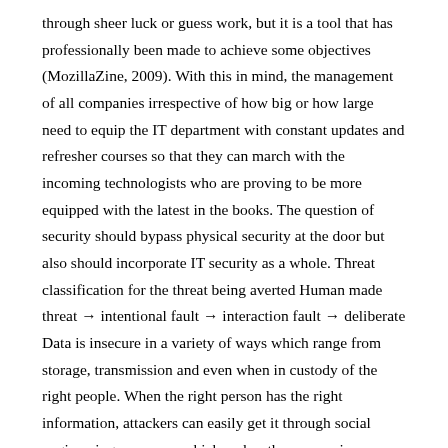through sheer luck or guess work, but it is a tool that has professionally been made to achieve some objectives (MozillaZine, 2009). With this in mind, the management of all companies irrespective of how big or how large need to equip the IT department with constant updates and refresher courses so that they can march with the incoming technologists who are proving to be more equipped with the latest in the books. The question of security should bypass physical security at the door but also should incorporate IT security as a whole. Threat classification for the threat being averted Human made threat → intentional fault → interaction fault → deliberate Data is insecure in a variety of ways which range from storage, transmission and even when in custody of the right people. When the right person has the right information, attackers can easily get it through social engineering processes which makes the companies vulnerable to all kinds of threats. This means that the management should always seek to block all the vulnerabilities so as to minimize the attacks. Apart from sealing the vulnerabilities, which might not be enough, measures should be